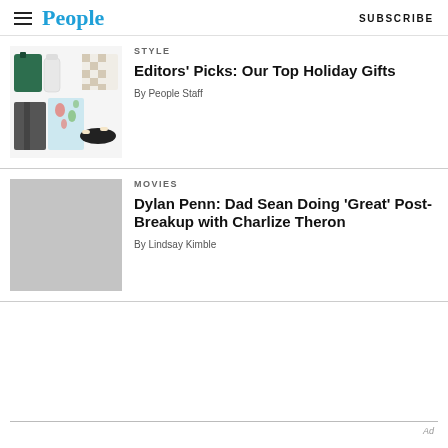People  SUBSCRIBE
[Figure (photo): Collage of holiday gift items: green candle, white bottle, floral pajama set, checkered item, dark blazer, sandal slides]
STYLE
Editors' Picks: Our Top Holiday Gifts
By People Staff
[Figure (photo): Gray placeholder image for movie article]
MOVIES
Dylan Penn: Dad Sean Doing 'Great' Post-Breakup with Charlize Theron
By Lindsay Kimble
Ad